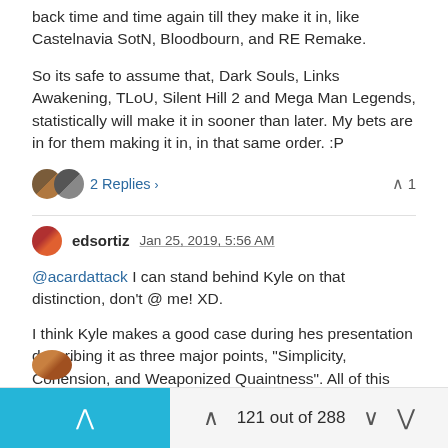back time and time again till they make it in, like Castelnavia SotN, Bloodbourn, and RE Remake.
So its safe to assume that, Dark Souls, Links Awakening, TLoU, Silent Hill 2 and Mega Man Legends, statistically will make it in sooner than later. My bets are in for them making it in, in that same order. :P
2 Replies > ^ 1
edsortiz Jan 25, 2019, 5:56 AM
@acardattack I can stand behind Kyle on that distinction, don't @ me! XD.
I think Kyle makes a good case during hes presentation describing it as three major points, "Simplicity, Cohension, and Weaponized Quaintness". All of this three things are what makes LTTP and LA, very, very different.
^ 0
121 out of 288